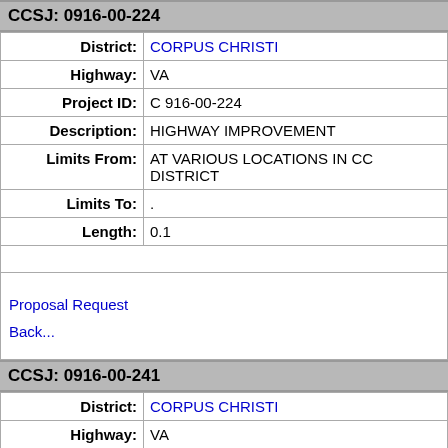CCSJ: 0916-00-224
| Field | Value |
| --- | --- |
| District: | CORPUS CHRISTI |
| Highway: | VA |
| Project ID: | C 916-00-224 |
| Description: | HIGHWAY IMPROVEMENT |
| Limits From: | AT VARIOUS LOCATIONS IN CC DISTRICT |
| Limits To: | . |
| Length: | 0.1 |
Proposal Request
Back...
CCSJ: 0916-00-241
| Field | Value |
| --- | --- |
| District: | CORPUS CHRISTI |
| Highway: | VA |
| Project ID: | F 0001(000) |